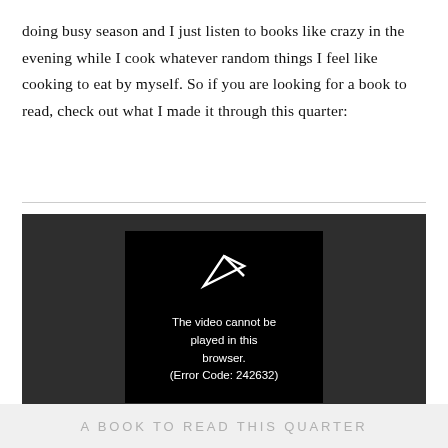doing busy season and I just listen to books like crazy in the evening while I cook whatever random things I feel like cooking to eat by myself. So if you are looking for a book to read, check out what I made it through this quarter:
[Figure (screenshot): Video player showing error message: 'The video cannot be played in this browser. (Error Code: 242632)' on a dark background with a play button icon.]
A BOOK TO READ THIS QUARTER